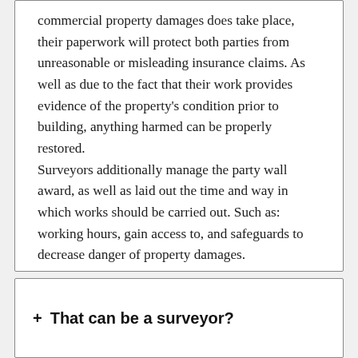commercial property damages does take place, their paperwork will protect both parties from unreasonable or misleading insurance claims. As well as due to the fact that their work provides evidence of the property's condition prior to building, anything harmed can be properly restored.
Surveyors additionally manage the party wall award, as well as laid out the time and way in which works should be carried out. Such as: working hours, gain access to, and safeguards to decrease danger of property damages.
That can be a surveyor?